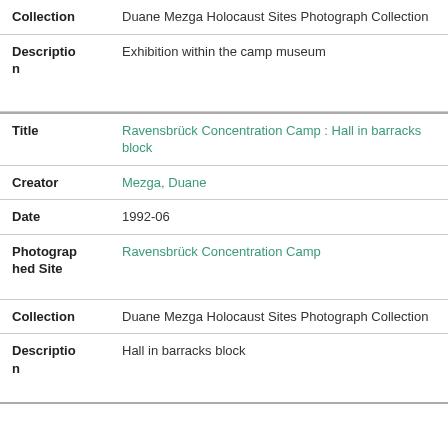| Field | Value |
| --- | --- |
| Collection | Duane Mezga Holocaust Sites Photograph Collection |
| Description | Exhibition within the camp museum |
| Title | Ravensbrück Concentration Camp : Hall in barracks block |
| Creator | Mezga, Duane |
| Date | 1992-06 |
| Photographed Site | Ravensbrück Concentration Camp |
| Collection | Duane Mezga Holocaust Sites Photograph Collection |
| Description | Hall in barracks block |